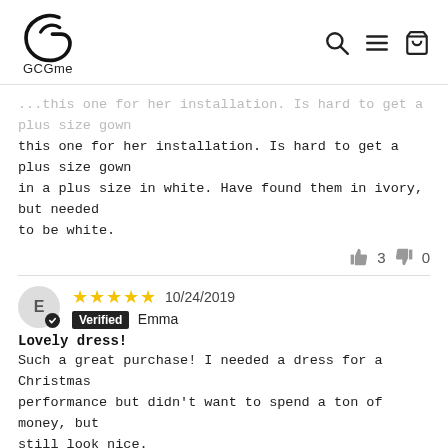GCGme — navigation header with logo, search, menu, cart icons
...this one for her installation. Is hard to get a plus size gown in a plus size in white. Have found them in ivory, but needed to be white.
👍 3  👎 0
★★★★★ 10/24/2019  Verified Emma
Lovely dress!
Such a great purchase! I needed a dress for a Christmas performance but didn't want to spend a ton of money, but still look nice.
I ordered size L and the dress fits great (I ordered according to what size shirt I wear). I loved that it isn't clingy but more flowey.
My Christmas performance and especially my dress got me some lovely compliments ♥